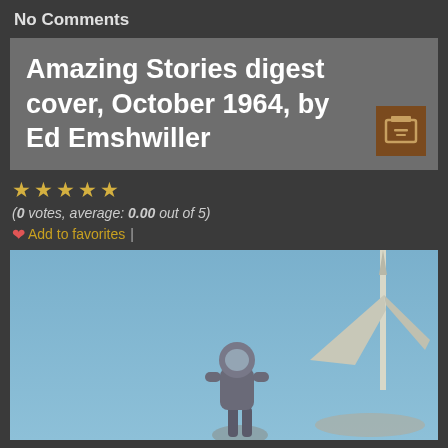No Comments
Amazing Stories digest cover, October 1964, by Ed Emshwiller
(0 votes, average: 0.00 out of 5)
♥ Add to favorites |
[Figure (photo): Magazine cover showing a person in a spacesuit near a futuristic spire or tower structure against a blue sky background — Amazing Stories digest cover, October 1964, by Ed Emshwiller]